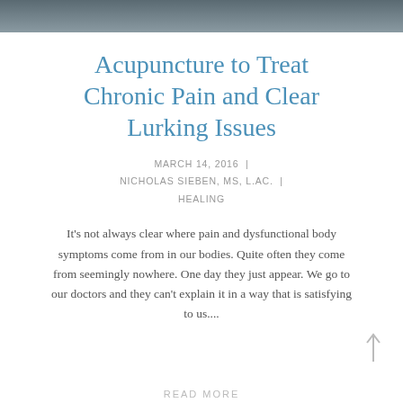[Figure (photo): Dark grayscale image at top of page, appears to be a background/header photo]
Acupuncture to Treat Chronic Pain and Clear Lurking Issues
MARCH 14, 2016  |  NICHOLAS SIEBEN, MS, L.AC.  |  HEALING
It's not always clear where pain and dysfunctional body symptoms come from in our bodies. Quite often they come from seemingly nowhere. One day they just appear. We go to our doctors and they can't explain it in a way that is satisfying to us....
READ MORE